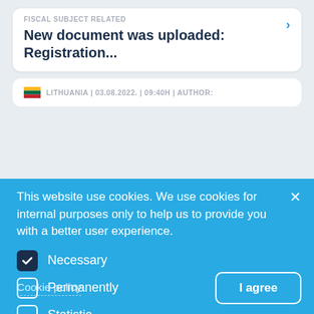FISCAL SUBJECT RELATED
New document was uploaded: Registration...
LITHUANIA | 03.08.2022. | 09:40H | AUTHOR:
This website use cookies. We use cookies for internal purposes only to help us to provide you with a better user experience.
Necessary
Permanently
Statistic
Marketing
Cookie policy
I agree